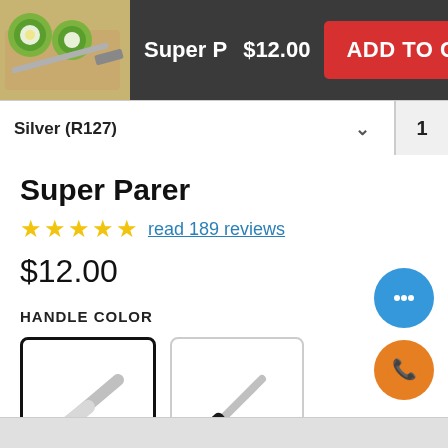[Figure (screenshot): Product thumbnail of Super Parer knife with kiwi fruit on cutting board]
Super P  $12.00
ADD TO CART
Silver (R127)  1
Super Parer
★★★★★ read 189 reviews
$12.00
HANDLE COLOR
[Figure (photo): Silver handle parer knife option - selected]
[Figure (photo): Black handle parer knife option]